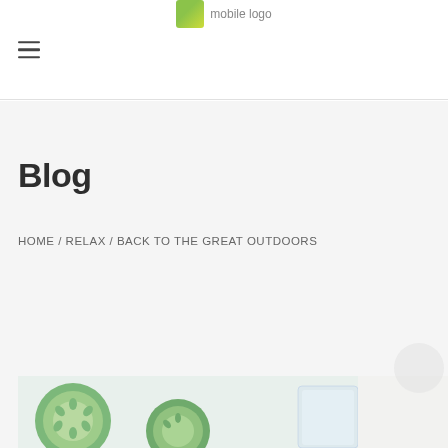mobile logo
Blog
HOME / RELAX / BACK TO THE GREAT OUTDOORS
[Figure (photo): Top portion of a photo showing sliced cucumbers and a glass, likely a health/wellness blog post image]